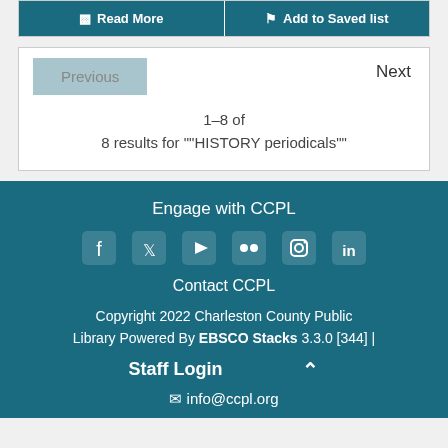Read More | Add to Saved list
Previous | Next | 1–8 of 8 results for ""HISTORY periodicals""
Engage with CCPL
Contact CCPL
Copyright 2022 Charleston County Public Library Powered By EBSCO Stacks 3.3.0 [344] | Staff Login
info@ccpl.org